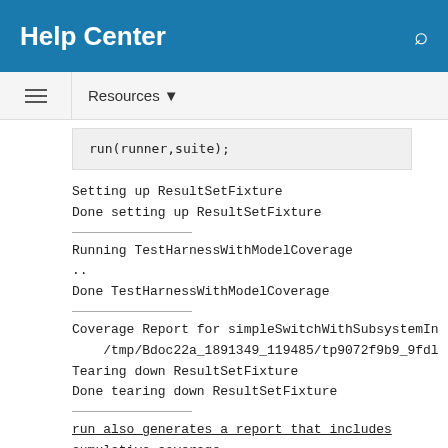Help Center
Resources ▼
run(runner,suite);
Setting up ResultSetFixture
Done setting up ResultSetFixture

Running TestHarnessWithModelCoverage
..
Done TestHarnessWithModelCoverage

Coverage Report for simpleSwitchWithSubsystemIn
    /tmp/Bdoc22a_1891349_119485/tp9072f9b9_9fdl
Tearing down ResultSetFixture
Done tearing down ResultSetFixture

run also generates a report that includes cumulative coverage